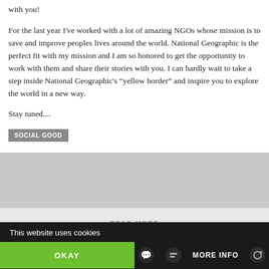with you!
For the last year I've worked with a lot of amazing NGOs whose mission is to save and improve peoples lives around the world. National Geographic is the perfect fit with my mission and I am so honored to get the opportunity to work with them and share their stories with you. I can hardly wait to take a step inside National Geographic's “yellow border” and inspire you to explore the world in a new way.
Stay tuned....
SOCIAL GOOD
READ MORE
This website uses cookies
OKAY
MORE INFO